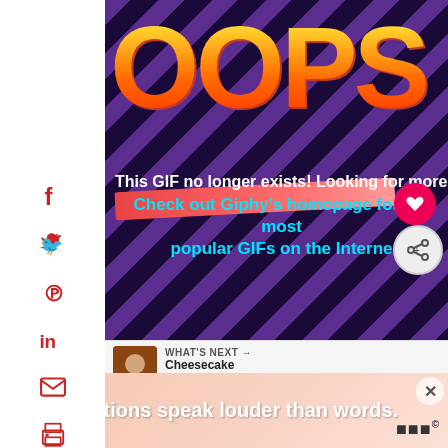[Figure (screenshot): Giphy error page showing 'OOPS' in large orange-yellow pixel-art letters on a dark purple background with diagonal stripes. Red underline stroke below the text. White text reads 'This GIF no longer exists! Looking for more' and cyan text reads 'Check out Giphy's homepage for the most popular GIFs on the Internet'. Heart and share buttons visible.]
WHAT'S NEXT →
Cheesecake Ice Cream...
No d...
[Figure (photo): Advertisement banner with a person and text 'Actions speak louder than words.' with a close button and logo.]